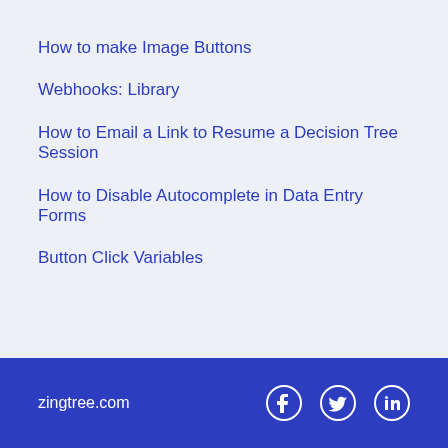How to make Image Buttons
Webhooks: Library
How to Email a Link to Resume a Decision Tree Session
How to Disable Autocomplete in Data Entry Forms
Button Click Variables
zingtree.com